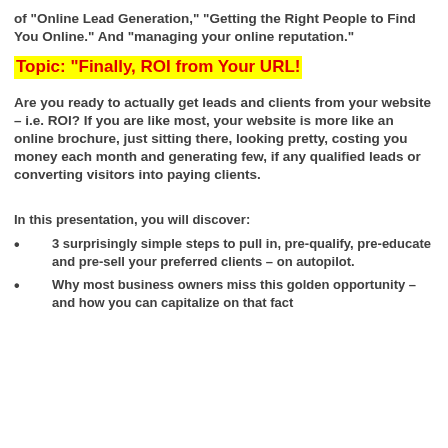of "Online Lead Generation," "Getting the Right People to Find You Online." And "managing your online reputation."
Topic: "Finally, ROI from Your URL!
Are you ready to actually get leads and clients from your website – i.e. ROI? If you are like most, your website is more like an online brochure, just sitting there, looking pretty, costing you money each month and generating few, if any qualified leads or converting visitors into paying clients.
In this presentation, you will discover:
3 surprisingly simple steps to pull in, pre-qualify, pre-educate and pre-sell your preferred clients – on autopilot.
Why most business owners miss this golden opportunity – and how you can capitalize on that fact